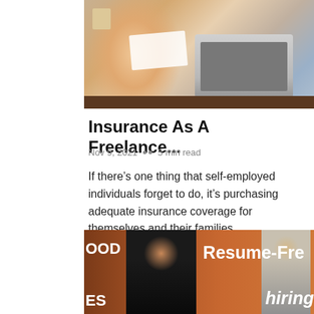[Figure (photo): Person in pink top holding envelope/paper at desk with laptop, coffee mug visible in background]
Insurance As A Freelance...
Nov 9, 2021  •• 5 min read
If there's one thing that self-employed individuals forget to do, it's purchasing adequate insurance coverage for themselves and their families.
[Figure (photo): Two people in front of orange background with text 'Resume-Free' and 'hiring' visible, with 'OOD' and 'ES' text on left side]